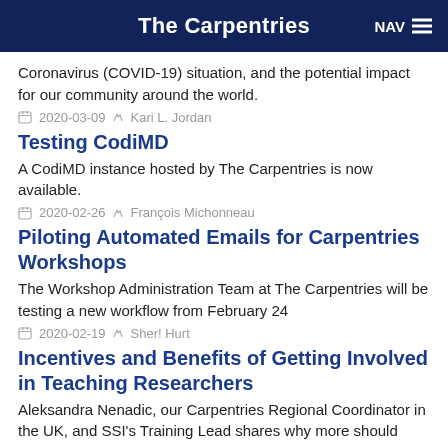The Carpentries
Coronavirus (COVID-19) situation, and the potential impact for our community around the world.
2020-03-09   Kari L. Jordan
Testing CodiMD
A CodiMD instance hosted by The Carpentries is now available.
2020-02-26   François Michonneau
Piloting Automated Emails for Carpentries Workshops
The Workshop Administration Team at The Carpentries will be testing a new workflow from February 24
2020-02-19   Sher! Hurt
Incentives and Benefits of Getting Involved in Teaching Researchers
Aleksandra Nenadic, our Carpentries Regional Coordinator in the UK, and SSI's Training Lead shares why more should